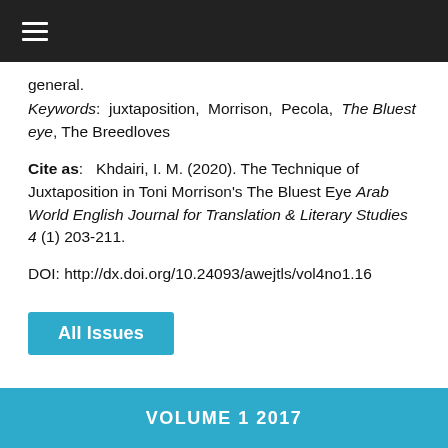≡
general.
Keywords: juxtaposition, Morrison, Pecola, The Bluest eye, The Breedloves
Cite as: Khdairi, I. M. (2020). The Technique of Juxtaposition in Toni Morrison's The Bluest Eye Arab World English Journal for Translation & Literary Studies 4 (1) 203-211.
DOI: http://dx.doi.org/10.24093/awejtls/vol4no1.16
All Issues
VOLUME 1 2017